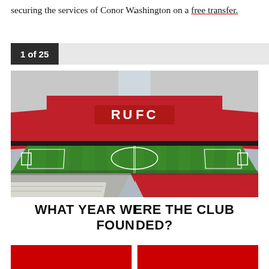securing the services of Conor Washington on a free transfer.
1 of 25
[Figure (photo): Interior view of a football stadium with red seats, green pitch, and 'RUFC' lettering on the stand. Some white seats visible in lower sections.]
WHAT YEAR WERE THE CLUB FOUNDED?